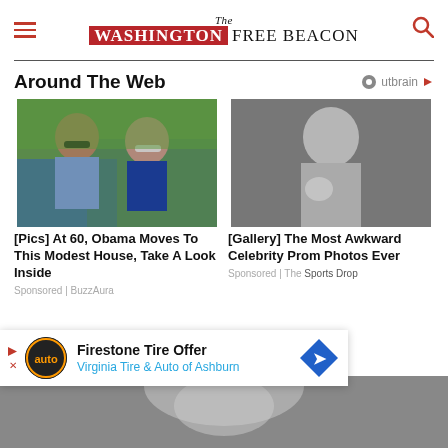The Washington Free Beacon
Around The Web
[Figure (photo): Photo of Barack Obama and Michelle Obama wearing sunglasses outdoors with green trees in background]
[Pics] At 60, Obama Moves To This Modest House, Take A Look Inside
Sponsored | BuzzAura
[Figure (photo): Black and white photo of a young woman in formal dress holding flowers, likely a celebrity prom photo]
[Gallery] The Most Awkward Celebrity Prom Photos Ever
Sponsored | The Sports Drop
[Figure (photo): Advertisement banner: Firestone Tire Offer - Virginia Tire & Auto of Ashburn]
Sports Drop
[Figure (photo): Black and white photo of a woman looking up, visible at bottom of page]